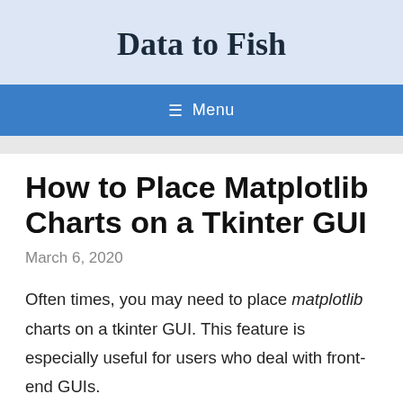Data to Fish
≡ Menu
How to Place Matplotlib Charts on a Tkinter GUI
March 6, 2020
Often times, you may need to place matplotlib charts on a tkinter GUI. This feature is especially useful for users who deal with front-end GUIs.